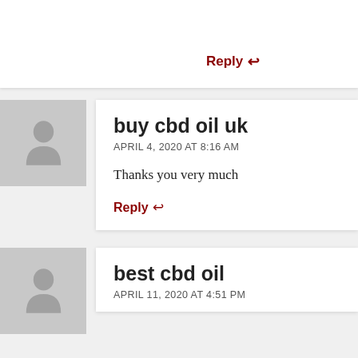Reply ↩
buy cbd oil uk
APRIL 4, 2020 AT 8:16 AM
Thanks you very much
Reply ↩
best cbd oil
APRIL 11, 2020 AT 4:51 PM